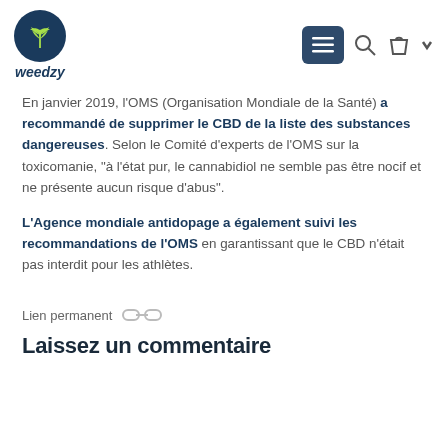weedzy
En janvier 2019, l'OMS (Organisation Mondiale de la Santé) a recommandé de supprimer le CBD de la liste des substances dangereuses. Selon le Comité d'experts de l'OMS sur la toxicomanie, "à l'état pur, le cannabidiol ne semble pas être nocif et ne présente aucun risque d'abus".
L'Agence mondiale antidopage a également suivi les recommandations de l'OMS en garantissant que le CBD n'était pas interdit pour les athlètes.
Lien permanent
Laissez un commentaire